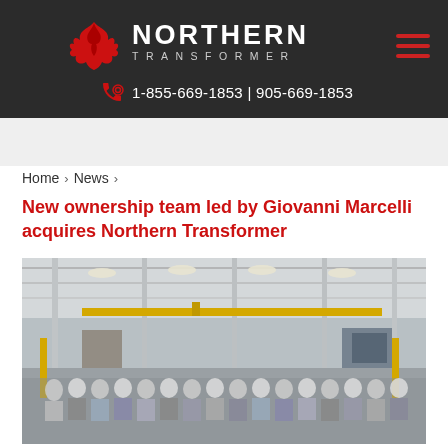NORTHERN TRANSFORMER | 1-855-669-1853 | 905-669-1853
Home > News >
New ownership team led by Giovanni Marcelli acquires Northern Transformer
[Figure (photo): Group photo of Northern Transformer employees standing inside a large industrial factory/warehouse facility with overhead cranes and manufacturing equipment visible.]